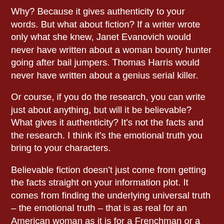Why? Because it gives authenticity to your words. But what about fiction? If a writer wrote only what she knew, Janet Evanovich would never have written about a woman bounty hunter going after bail jumpers. Thomas Harris would never have written about a genius serial killer.
Or course, if you do the research, you can write just about anything, but will it be believable? What gives it authenticity? It's not the facts and the research. I think it's the emotional truth you bring to your characters.
Believable fiction doesn't just come from getting the facts straight on your information plot. It comes from finding the underlying universal truth – the emotional truth – that is as real for an American woman as it is for a Frenchman or a Japanese mother or whomever. Believability comes from the honesty and recognition of the emotions at work in the characters.
Emotional truth is recognized on a subconscious level, but it's that which makes fiction come to life. When done well, it's what makes a reader say your book "spoke" to her. It's what